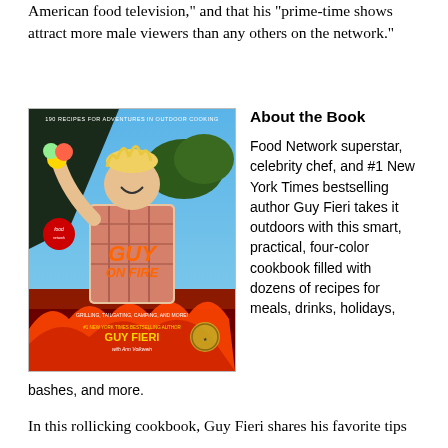American food television," and that his "prime-time shows attract more male viewers than any others on the network."
[Figure (photo): Book cover of 'Guy on Fire: Grilling, Tailgating, Camping, and More!' by Guy Fieri with Ann Volkwein, featuring the author holding food with fire and flames in the background, Food Network logo, subtitle '190 Recipes for Adventures in Outdoor Cooking', #1 New York Times Bestselling Author]
About the Book
Food Network superstar, celebrity chef, and #1 New York Times bestselling author Guy Fieri takes it outdoors with this smart, practical, four-color cookbook filled with dozens of recipes for meals, drinks, holidays, bashes, and more.
In this rollicking cookbook, Guy Fieri shares his favorite tips